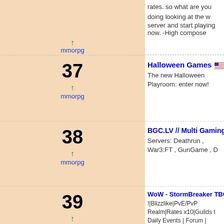mmorpg (rank entry, arrow up)
37 - Halloween Games only! The new Halloween Playroom: enter now! mmorpg
38 - BGC.LV // Multi Gaming Portal only! Servers: Deathrun , War3:FT , GunGame , D... mmorpg
39 - WoW - StormBreaker TBC 2.4.3 BR !!Blizzlike|PvE/PvP Realm|Rates x10|Guilds t... Daily Events | Forum | Social Networks | Top mmorpg
40 - Atulos Empires only - Atulos Empires is a browser based MMORTS...